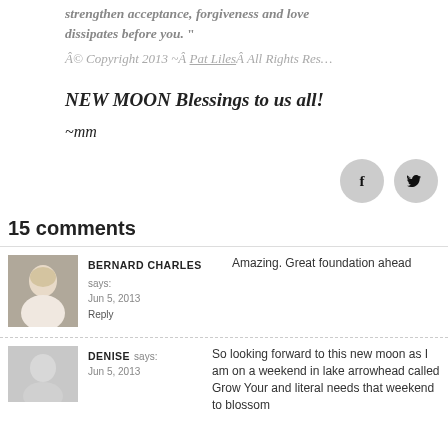strengthen acceptance, forgiveness and love dissipates before you.”
Â© Copyright 2013 ~Â Pat LilesÂ All Rights Reserved
NEW MOON Blessings to us all!
~mm
[Figure (other): Social share icons: Facebook (f) and Twitter (bird) circular gray buttons]
15 comments
[Figure (photo): Avatar photo of Bernard Charles - blond person in light clothing]
BERNARD CHARLES says: Jun 5, 2013 — Amazing. Great foundation ahead Reply
[Figure (photo): Gray placeholder avatar for Denise]
DENISE says: Jun 5, 2013 — So looking forward to this new moon as I am on a weekend in lake arrowhead called Grow Your and literal needs that weekend to blossom